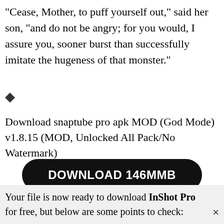"Cease, Mother, to puff yourself out," said her son, "and do not be angry; for you would, I assure you, sooner burst than successfully imitate the hugeness of that monster."
◆
Download snaptube pro apk MOD (God Mode) v1.8.15 (MOD, Unlocked All Pack/No Watermark)
[Figure (other): Black rounded rectangle button with white bold text reading 'DOWNLOAD 146MMB']
Your file is now ready to download InShot Pro for free, but below are some points to check: